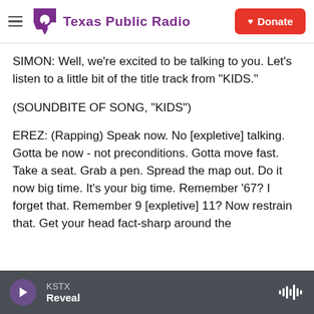Texas Public Radio — Donate
SIMON: Well, we're excited to be talking to you. Let's listen to a little bit of the title track from "KIDS."
(SOUNDBITE OF SONG, "KIDS")
EREZ: (Rapping) Speak now. No [expletive] talking. Gotta be now - not preconditions. Gotta move fast. Take a seat. Grab a pen. Spread the map out. Do it now big time. It's your big time. Remember '67? I forget that. Remember 9 [expletive] 11? Now restrain that. Get your head fact-sharp around the
KSTX — Reveal